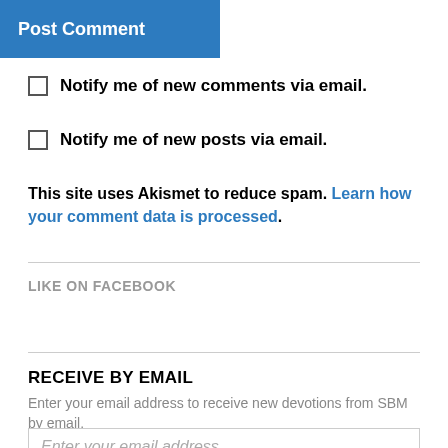Post Comment
Notify me of new comments via email.
Notify me of new posts via email.
This site uses Akismet to reduce spam. Learn how your comment data is processed.
LIKE ON FACEBOOK
RECEIVE BY EMAIL
Enter your email address to receive new devotions from SBM by email.
Enter your email address